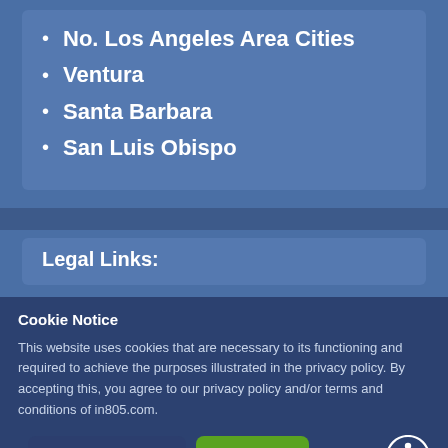No. Los Angeles Area Cities
Ventura
Santa Barbara
San Luis Obispo
Legal Links:
Cookie Notice
This website uses cookies that are necessary to its functioning and required to achieve the purposes illustrated in the privacy policy. By accepting this, you agree to our privacy policy and/or terms and conditions of in805.com.